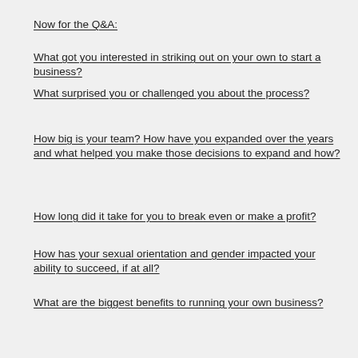First, meet the businesswomen.
Now for the Q&A:
What got you interested in striking out on your own to start a business?
What surprised you or challenged you about the process?
How big is your team? How have you expanded over the years and what helped you make those decisions to expand and how?
How long did it take for you to break even or make a profit?
How has your sexual orientation and gender impacted your ability to succeed, if at all?
What are the biggest benefits to running your own business?